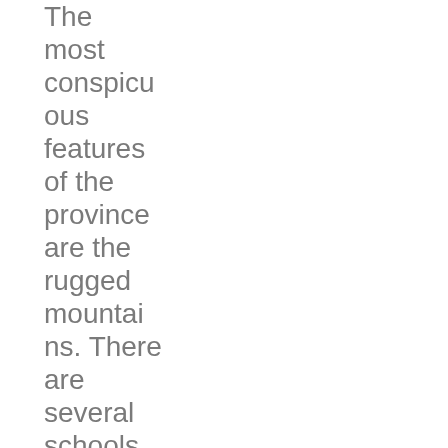The most conspicuous features of the province are the rugged mountains. There are several schools in the province including